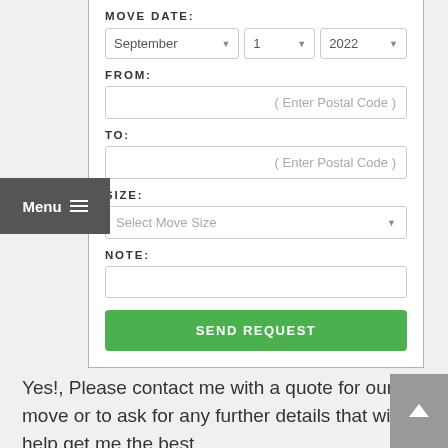[Figure (screenshot): Web form for requesting a moving quote. Contains fields for MOVE DATE (dropdowns: September, 1, 2022), FROM (postal code input), TO (postal code input), SIZE (Select Move Size dropdown), NOTE (text input), and a SEND REQUEST button.]
MOVE DATE:
September | 1 | 2022
FROM:
( Enter Postal Code )
TO:
( Enter Postal Code )
SIZE:
Select Move Size
NOTE:
SEND REQUEST
Yes!, Please contact me with a quote for our move or to ask for any further details that will help get me the best